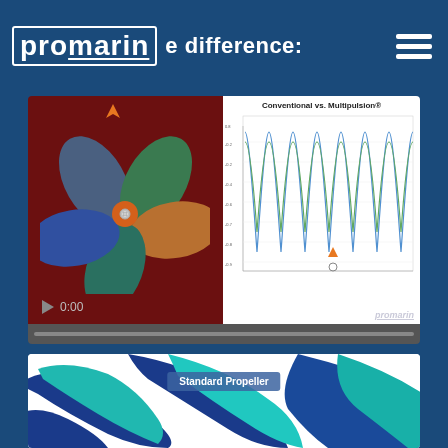promarin the difference:
[Figure (screenshot): Video thumbnail showing a colorful 5-blade propeller (Multipulsion) on dark red background on the left, and a line chart titled 'Conventional vs. Multipulsion®' showing oscillating waveforms in blue, green, and orange on white background on the right. Video timestamp shows 0:00 with play button.]
[Figure (screenshot): 3D rendering of a Standard Propeller shown in blue and teal colors, with a label overlay reading 'Standard Propeller']